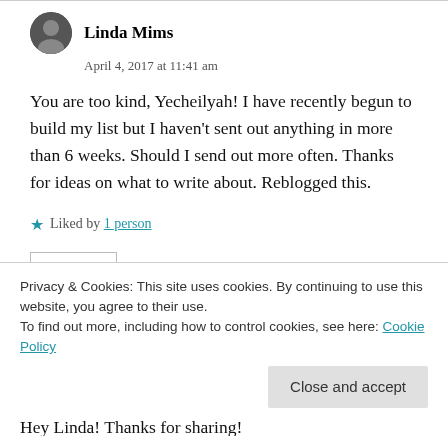Linda Mims
April 4, 2017 at 11:41 am
You are too kind, Yecheilyah! I have recently begun to build my list but I haven't sent out anything in more than 6 weeks. Should I send out more often. Thanks for ideas on what to write about. Reblogged this.
Liked by 1 person
REPLY
Privacy & Cookies: This site uses cookies. By continuing to use this website, you agree to their use.
To find out more, including how to control cookies, see here: Cookie Policy
Close and accept
Hey Linda! Thanks for sharing!